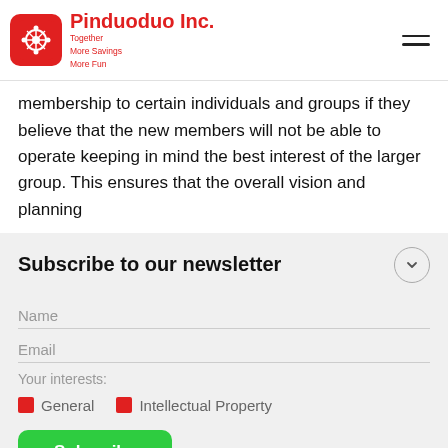Pinduoduo Inc. Together More Savings More Fun
membership to certain individuals and groups if they believe that the new members will not be able to operate keeping in mind the best interest of the larger group. This ensures that the overall vision and planning
Subscribe to our newsletter
Name
Email
Your interests:
General
Intellectual Property
Subscribe